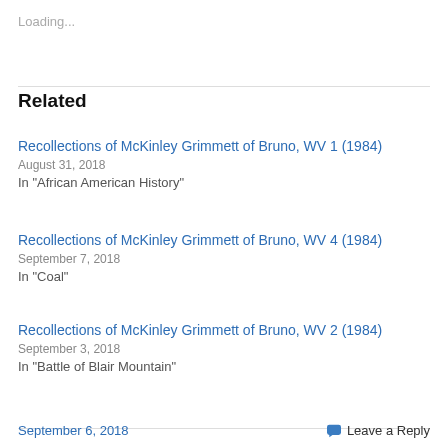Loading...
Related
Recollections of McKinley Grimmett of Bruno, WV 1 (1984)
August 31, 2018
In "African American History"
Recollections of McKinley Grimmett of Bruno, WV 4 (1984)
September 7, 2018
In "Coal"
Recollections of McKinley Grimmett of Bruno, WV 2 (1984)
September 3, 2018
In "Battle of Blair Mountain"
September 6, 2018   Leave a Reply